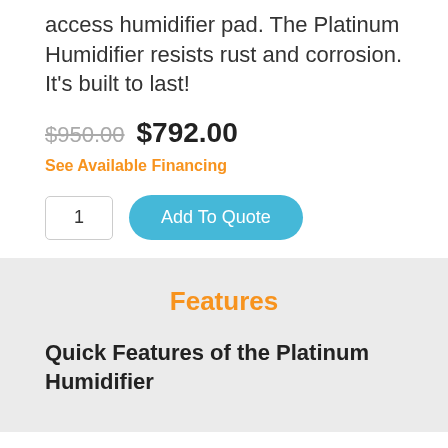access humidifier pad. The Platinum Humidifier resists rust and corrosion. It's built to last!
$950.00 $792.00
See Available Financing
1   Add To Quote
Features
Quick Features of the Platinum Humidifier